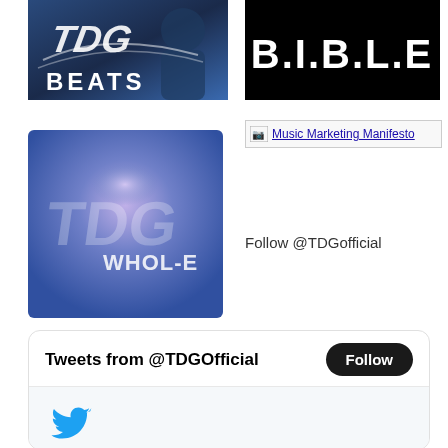[Figure (illustration): TDG Beats logo with rapper silhouette on blue background]
[Figure (illustration): B.I.B.L.E text logo on black background]
[Figure (illustration): TDG Whol-E album art with purple/blue gradient and TDG WHOL-E text]
[Figure (screenshot): Music Marketing Manifesto broken image link placeholder with text]
Follow @TDGofficial
[Figure (screenshot): Twitter widget showing Tweets from @TDGOfficial with Follow button and Twitter bird icon]